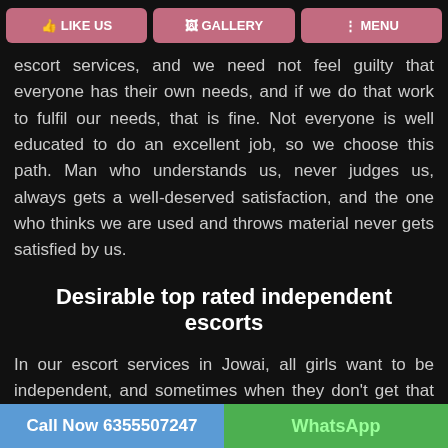LIKE US | GALLERY | MENU
escort services, and we need not feel guilty that everyone has their own needs, and if we do that work to fulfil our needs, that is fine. Not everyone is well educated to do an excellent job, so we choose this path. Man who understands us, never judges us, always gets a well-deserved satisfaction, and the one who thinks we are used and throws material never gets satisfied by us.
Desirable top rated independent escorts
In our escort services in Jowai, all girls want to be independent, and sometimes when they don't get that significantly higher level of education for work and jobs. So they have to choose this path to earn money, they talk with the customers nicely and as long as they want to talk and get paid for that. The call centres are mainly in areas where people don't doubt that anyone in society knows
Call Now 6355507247 | WhatsApp